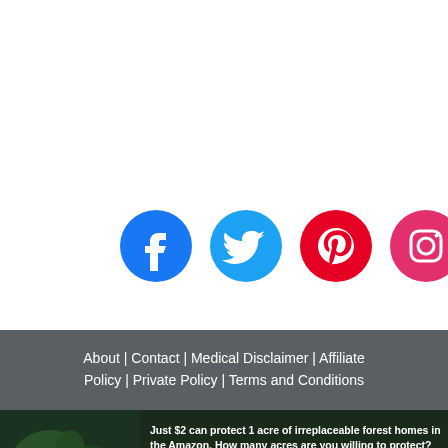[Figure (infographic): Four social media icon buttons in circles: Facebook (blue), Twitter (light blue), Pinterest (red/crimson), Instagram (pink/magenta gradient). Arranged horizontally.]
About | Contact | Medical Disclaimer | Affiliate Policy | Private Policy | Terms and Conditions
[Figure (infographic): Advertisement banner: dark background with forest/nature image on left, text 'Just $2 can protect 1 acre of irreplaceable forest homes in the Amazon. How many acres are you willing to protect?' and green 'PROTECT FORESTS NOW' button.]